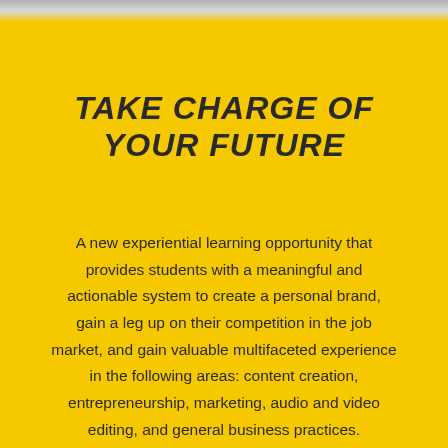TAKE CHARGE OF YOUR FUTURE
A new experiential learning opportunity that provides students with a meaningful and actionable system to create a personal brand, gain a leg up on their competition in the job market, and gain valuable multifaceted experience in the following areas: content creation, entrepreneurship, marketing, audio and video editing, and general business practices.